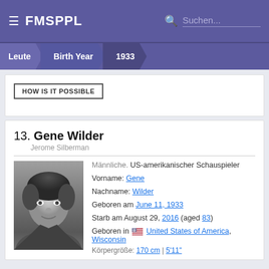FMSPPL | Suchen...
Leute > Birth Year > 1933
HOW IS IT POSSIBLE
13. Gene Wilder
Jerome Silberman
[Figure (photo): Black and white portrait photo of Gene Wilder]
Männliche. US-amerikanischer Schauspieler
Vorname: Gene
Nachname: Wilder
Geboren am June 11, 1933
Starb am August 29, 2016 (aged 83)
Geboren in United States of America, Wisconsin
Körpergröße: 170 cm | 5'11"